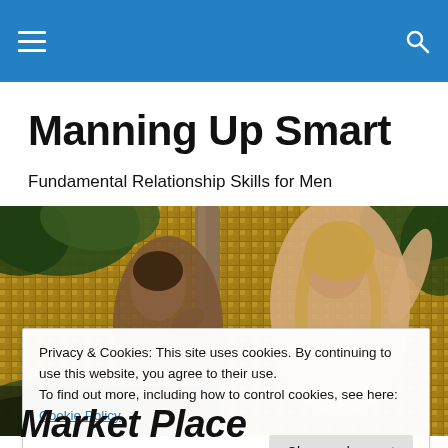Manning Up Smart - navigation bar
Manning Up Smart
Fundamental Relationship Skills for Men
[Figure (illustration): Classical Renaissance-style painting showing two figures in a garden setting — a male figure on the left reaching toward a female figure on the right who is partially draped, surrounded by lush foliage and a golden mosaic-like background. Resembles the story of Adam and Eve.]
Privacy & Cookies: This site uses cookies. By continuing to use this website, you agree to their use.
To find out more, including how to control cookies, see here: Cookie Policy
Close and accept
Market Place